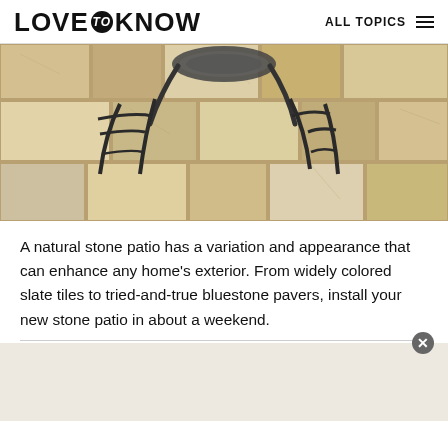LOVE to KNOW  ALL TOPICS
[Figure (photo): Overhead view of a natural stone patio with large travertine/limestone tiles in warm tan and beige tones. Black wrought-iron patio furniture (chair legs and table base) visible in upper portion of the image.]
A natural stone patio has a variation and appearance that can enhance any home’s exterior. From widely colored slate tiles to tried-and-true bluestone pavers, install your new stone patio in about a weekend.
[Figure (other): Advertisement banner area with close (x) button in upper right corner. Content area is a light beige/tan color.]